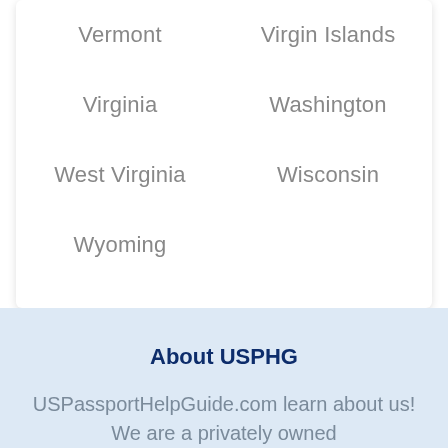Vermont
Virgin Islands
Virginia
Washington
West Virginia
Wisconsin
Wyoming
About USPHG
USPassportHelpGuide.com learn about us! We are a privately owned